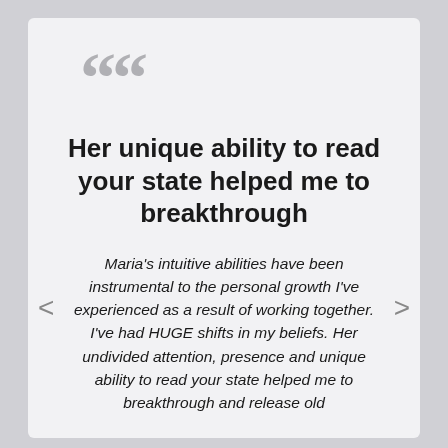““
Her unique ability to read your state helped me to breakthrough
Maria’s intuitive abilities have been instrumental to the personal growth I’ve experienced as a result of working together. I’ve had HUGE shifts in my beliefs. Her undivided attention, presence and unique ability to read your state helped me to breakthrough and release old